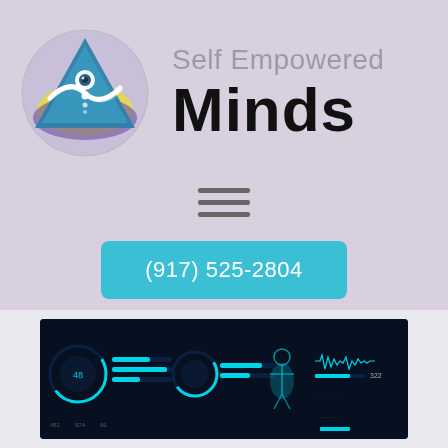[Figure (logo): Self Empowered Minds logo: circular emblem with teal/blue triangle, eye motif, white swash, yellow glow, purple background]
Self Empowered Minds
[Figure (other): Hamburger menu icon: three horizontal lines]
(917) 525-2804
[Figure (screenshot): Dark futuristic dashboard screenshot with teal data visualizations, circular gauges, bar indicators, human silhouette, waveforms, and numeric readouts including 481, 974, 96, 322]